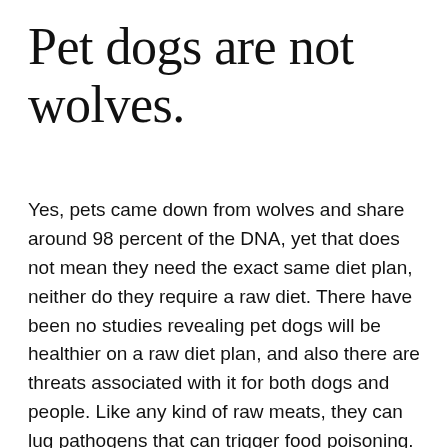Pet dogs are not wolves.
Yes, pets came down from wolves and share around 98 percent of the DNA, yet that does not mean they need the exact same diet plan, neither do they require a raw diet. There have been no studies revealing pet dogs will be healthier on a raw diet plan, and also there are threats associated with it for both dogs and people. Like any kind of raw meats, they can lug pathogens that can trigger food poisoning.